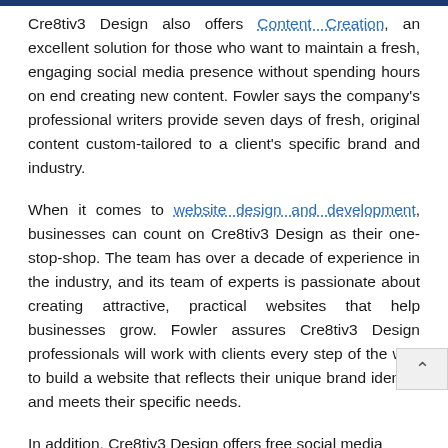Cre8tiv3 Design also offers Content Creation, an excellent solution for those who want to maintain a fresh, engaging social media presence without spending hours on end creating new content. Fowler says the company's professional writers provide seven days of fresh, original content custom-tailored to a client's specific brand and industry.
When it comes to website design and development, businesses can count on Cre8tiv3 Design as their one-stop-shop. The team has over a decade of experience in the industry, and its team of experts is passionate about creating attractive, practical websites that help businesses grow. Fowler assures Cre8tiv3 Design professionals will work with clients every step of the way to build a website that reflects their unique brand identity and meets their specific needs.
In addition, Cre8tiv3 Design offers free social media